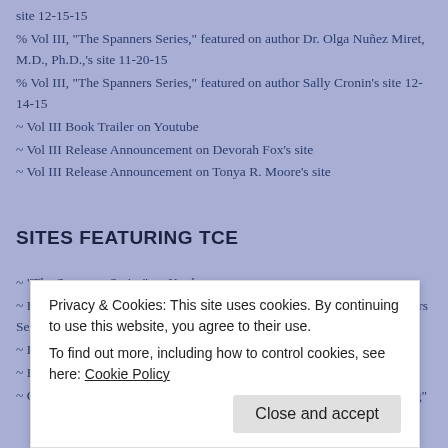site 12-15-15
% Vol III, "The Spanners Series," featured on author Dr. Olga Nuñez Miret, M.D., Ph.D.,'s site 11-20-15
% Vol III, "The Spanners Series," featured on author Sally Cronin's site 12-14-15
~ Vol III Book Trailer on Youtube
~ Vol III Release Announcement on Devorah Fox's site
~ Vol III Release Announcement on Tonya R. Moore's site
SITES FEATURING TCE
~ "The Spanners Series" on Koobug
~ Book Marketing Network page for Sally Ember, Ed.D. and "The Spanners Series"
~ Brief Review and Praise for author and TCE on Bits, Bites, Books
~ BukFaze "This Changes Everything" Cover feature
~ Check It Out page for Sally Ember, Ed.D. and "This Changes Everything"
~ TCE on Facebook
Privacy & Cookies: This site uses cookies. By continuing to use this website, you agree to their use. To find out more, including how to control cookies, see here: Cookie Policy
Close and accept